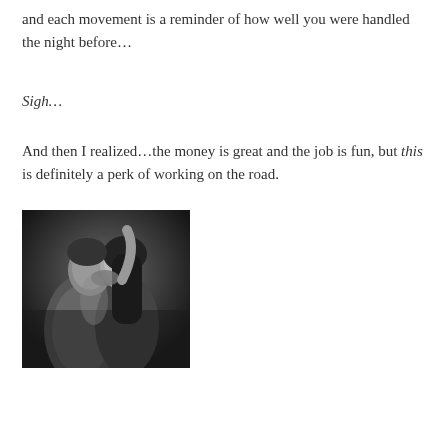and each movement is a reminder of how well you were handled the night before…
Sigh…
And then I realized…the money is great and the job is fun, but this is definitely a perk of working on the road.
[Figure (photo): Black and white photo of a couple in an intimate embrace, kissing]